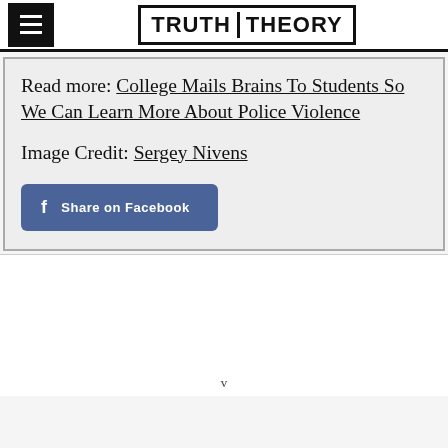TRUTH THEORY
Read more: College Mails Brains To Students So We Can Learn More About Police Violence
Image Credit: Sergey Nivens
[Figure (other): Share on Facebook button in blue/purple color]
v